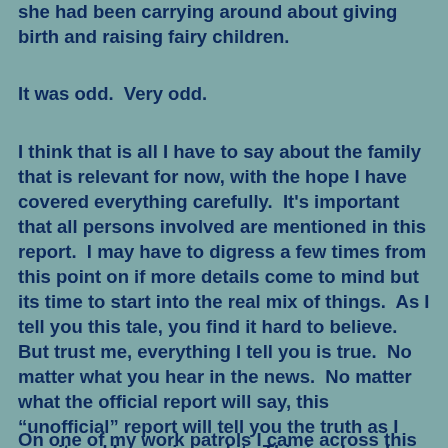she had been carrying around about giving birth and raising fairy children.
It was odd.  Very odd.
I think that is all I have to say about the family that is relevant for now, with the hope I have covered everything carefully.  It’s important that all persons involved are mentioned in this report.  I may have to digress a few times from this point on if more details come to mind but its time to start into the real mix of things.  As I tell you this tale, you find it hard to believe.  But trust me, everything I tell you is true.  No matter what you hear in the news.  No matter what the official report will say, this “unofficial” report will tell you the truth as I saw it and I experienced it.  This is where I have chosen to begin:
On one of my work patrols I came across this old ston...